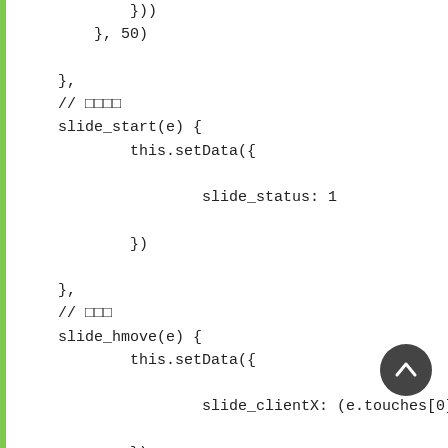}))
            }, 50)

        },
        // □□□□
        slide_start(e) {
                this.setData({

                        slide_status: 1

                })

        },
        // □□□
        slide_hmove(e) {
                this.setData({

                        slide_clientX: (e.touches[0]

                })

        },